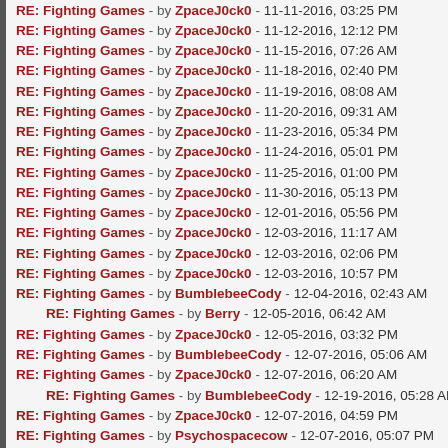RE: Fighting Games - by ZpaceJ0ck0 - 11-11-2016, 03:25 PM
RE: Fighting Games - by ZpaceJ0ck0 - 11-12-2016, 12:12 PM
RE: Fighting Games - by ZpaceJ0ck0 - 11-15-2016, 07:26 AM
RE: Fighting Games - by ZpaceJ0ck0 - 11-18-2016, 02:40 PM
RE: Fighting Games - by ZpaceJ0ck0 - 11-19-2016, 08:08 AM
RE: Fighting Games - by ZpaceJ0ck0 - 11-20-2016, 09:31 AM
RE: Fighting Games - by ZpaceJ0ck0 - 11-23-2016, 05:34 PM
RE: Fighting Games - by ZpaceJ0ck0 - 11-24-2016, 05:01 PM
RE: Fighting Games - by ZpaceJ0ck0 - 11-25-2016, 01:00 PM
RE: Fighting Games - by ZpaceJ0ck0 - 11-30-2016, 05:13 PM
RE: Fighting Games - by ZpaceJ0ck0 - 12-01-2016, 05:56 PM
RE: Fighting Games - by ZpaceJ0ck0 - 12-03-2016, 11:17 AM
RE: Fighting Games - by ZpaceJ0ck0 - 12-03-2016, 02:06 PM
RE: Fighting Games - by ZpaceJ0ck0 - 12-03-2016, 10:57 PM
RE: Fighting Games - by BumblebeeCody - 12-04-2016, 02:43 AM
RE: Fighting Games - by Berry - 12-05-2016, 06:42 AM (indented)
RE: Fighting Games - by ZpaceJ0ck0 - 12-05-2016, 03:32 PM
RE: Fighting Games - by BumblebeeCody - 12-07-2016, 05:06 AM
RE: Fighting Games - by ZpaceJ0ck0 - 12-07-2016, 06:20 AM
RE: Fighting Games - by BumblebeeCody - 12-19-2016, 05:28 AM (indented)
RE: Fighting Games - by ZpaceJ0ck0 - 12-07-2016, 04:59 PM
RE: Fighting Games - by Psychospacecow - 12-07-2016, 05:07 PM
RE: Fighting Games - by ZpaceJ0ck0 - 12-07-2016, 05:11 PM
RE: Fighting Games - by Psychospacecow - 12-07-2016, 06:55 PM (indented)
RE: Fighting Games - by SERIOUSLY THOUGH - 12-07-2016, 06:39 PM